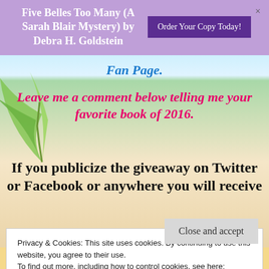Five Belles Too Many (A Sarah Blair Mystery) by Debra H. Goldstein
Fan Page.
Leave me a comment below telling me your favorite book of 2016.
If you publicize the giveaway on Twitter or Facebook or anywhere you will receive
Privacy & Cookies: This site uses cookies. By continuing to use this website, you agree to their use. To find out more, including how to control cookies, see here: Cookie Policy
Close and accept
Winner Will Be Notified By Email